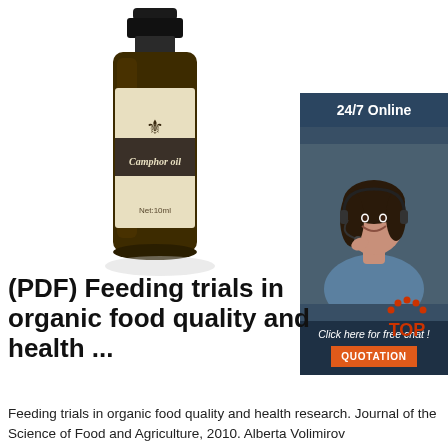[Figure (photo): Camphor oil product bottle - small dark amber glass bottle with cream label reading 'Camphor oil' and 'Net:10ml', with black cap and fleur-de-lis emblem on label]
[Figure (infographic): Advertisement banner with '24/7 Online' header, photo of woman with headset, text 'Click here for free chat!' and orange QUOTATION button]
(PDF) Feeding trials in organic food quality and health ...
[Figure (logo): TOP logo with red dots forming arch over text]
Feeding trials in organic food quality and health research. Journal of the Science of Food and Agriculture, 2010. Alberta Volimirov